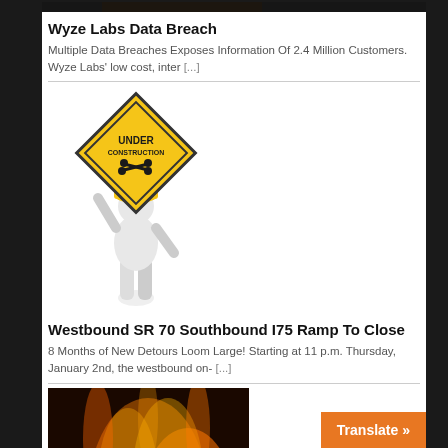[Figure (photo): Top cropped photo, dark tones, partially visible]
Wyze Labs Data Breach
Multiple Data Breaches Exposes Information Of 2.4 Million Customers. Wyze Labs' low cost, inter [...]
[Figure (illustration): Under construction sign: yellow diamond sign held by a white 3D figure character]
Westbound SR 70 Southbound I75 Ramp To Close
8 Months of New Detours Loom Large! Starting at 11 p.m. Thursday, January 2nd, the westbound on- [...]
[Figure (photo): Wawa logo on fire background — flames with red Wawa text]
Wawa Data Breach
Wawa Facing Wave Of Lawsuits Over Data Breach 10, Wawa's information security team [...]